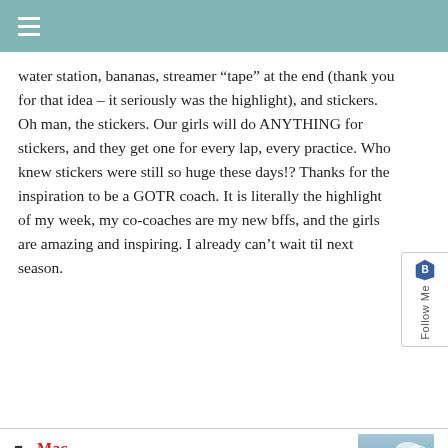≡
water station, bananas, streamer “tape” at the end (thank you for that idea – it seriously was the highlight), and stickers. Oh man, the stickers. Our girls will do ANYTHING for stickers, and they get one for every lap, every practice. Who knew stickers were still so huge these days!? Thanks for the inspiration to be a GOTR coach. It is literally the highlight of my week, my co-coaches are my new bffs, and the girls are amazing and inspiring. I already can’t wait til next season.
[Figure (other): Follow Me widget with shield icon on right side]
Mac
You are thr best GOTR coach ever!
[Figure (photo): Avatar photo of Mac showing a person on a boat with water in background]